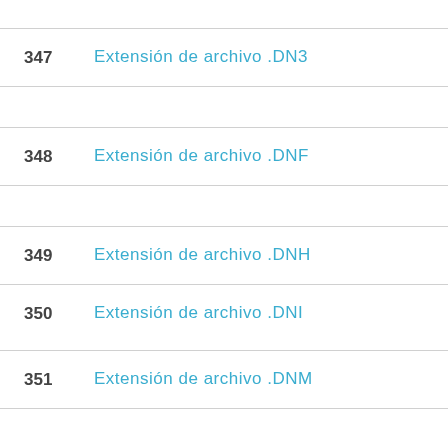347   Extensión de archivo .DN3
348   Extensión de archivo .DNF
349   Extensión de archivo .DNH
350   Extensión de archivo .DNI
351   Extensión de archivo .DNM